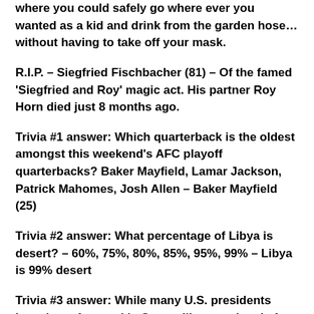where you could safely go where ever you wanted as a kid and drink from the garden hose... without having to take off your mask.
R.I.P. – Siegfried Fischbacher (81) – Of the famed 'Siegfried and Roy' magic act. His partner Roy Horn died just 8 months ago.
Trivia #1 answer: Which quarterback is the oldest amongst this weekend's AFC playoff quarterbacks? Baker Mayfield, Lamar Jackson, Patrick Mahomes, Josh Allen – Baker Mayfield (25)
Trivia #2 answer: What percentage of Libya is desert? – 60%, 75%, 80%, 85%, 95%, 99% – Libya is 99% desert
Trivia #3 answer: While many U.S. presidents have been featured in Sports Illustrated, only four have graced the cover. Who are they? Bonus: Who is the